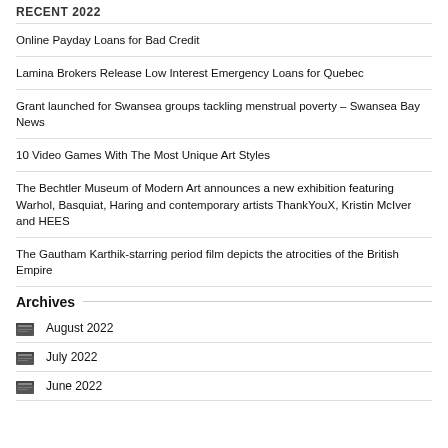RECENT 2022
Online Payday Loans for Bad Credit
Lamina Brokers Release Low Interest Emergency Loans for Quebec
Grant launched for Swansea groups tackling menstrual poverty – Swansea Bay News
10 Video Games With The Most Unique Art Styles
The Bechtler Museum of Modern Art announces a new exhibition featuring Warhol, Basquiat, Haring and contemporary artists ThankYouX, Kristin McIver and HEES
The Gautham Karthik-starring period film depicts the atrocities of the British Empire
Archives
August 2022
July 2022
June 2022